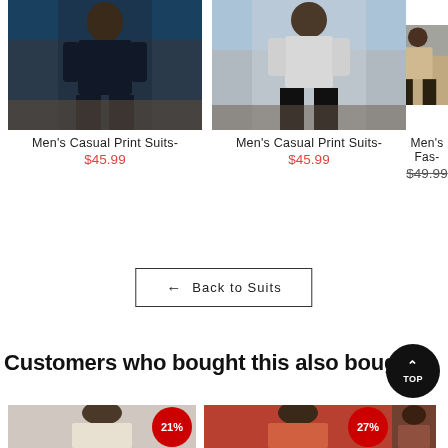[Figure (photo): Men's casual print suit product photo, man in navy blue short set standing on dock]
Men's Casual Print Suits-
$45.99
[Figure (photo): Men's casual print suit product photo, man in white shirt and black shorts standing on dock]
Men's Casual Print Suits-
$45.99
[Figure (photo): Men's fashion partial product photo on right edge]
Men's Fas-
$49.99
← Back to Suits
Customers who bought this also bought
[Figure (photo): Product thumbnail with 21% badge]
[Figure (photo): Product thumbnail with 27% badge]
[Figure (photo): Third product thumbnail partially visible]